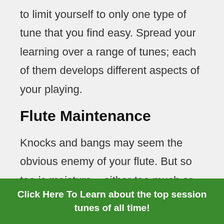to limit yourself to only one type of tune that you find easy. Spread your learning over a range of tunes; each of them develops different aspects of your playing.
Flute Maintenance
Knocks and bangs may seem the obvious enemy of your flute. But so too is moisture – either too much or too little. The condensation that forms as you play does not all drip
Click Here To Learn about the top session tunes of all time!